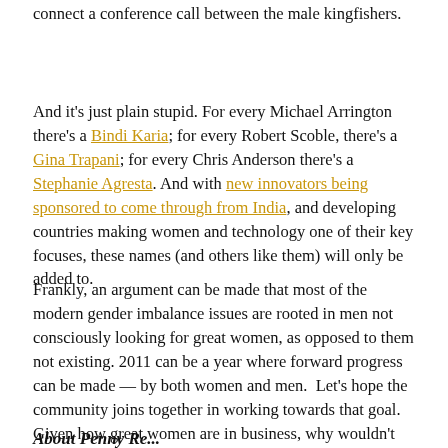connect a conference call between the male kingfishers.
And it's just plain stupid. For every Michael Arrington there's a Bindi Karia; for every Robert Scoble, there's a Gina Trapani; for every Chris Anderson there's a Stephanie Agresta. And with new innovators being sponsored to come through from India, and developing countries making women and technology one of their key focuses, these names (and others like them) will only be added to.
Frankly, an argument can be made that most of the modern gender imbalance issues are rooted in men not consciously looking for great women, as opposed to them not existing. 2011 can be a year where forward progress can be made — by both women and men.  Let's hope the community joins together in working towards that goal.  Given how great women are in business, why wouldn't you?
About Penny Re...